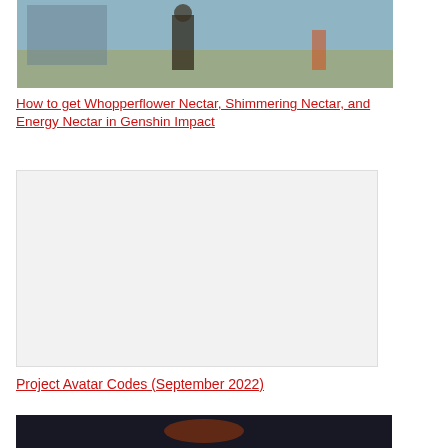[Figure (screenshot): Screenshot from Genshin Impact game showing a character standing in a plaza area with stone flooring and other characters or NPCs in the background.]
How to get Whopperflower Nectar, Shimmering Nectar, and Energy Nectar in Genshin Impact
[Figure (other): Advertisement placeholder box with light gray background.]
Project Avatar Codes (September 2022)
[Figure (screenshot): Dark screenshot, partially visible at bottom of page.]